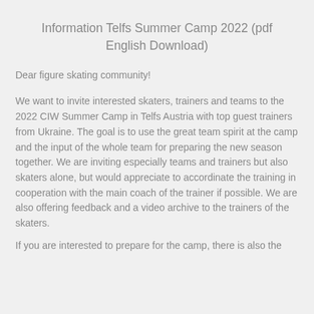Information Telfs Summer Camp 2022 (pdf English Download)
Dear figure skating community!
We want to invite interested skaters, trainers and teams to the 2022 CIW Summer Camp in Telfs Austria with top guest trainers from Ukraine. The goal is to use the great team spirit at the camp and the input of the whole team for preparing the new season together. We are inviting especially teams and trainers but also skaters alone, but would appreciate to accordinate the training in cooperation with the main coach of the trainer if possible. We are also offering feedback and a video archive to the trainers of the skaters.
If you are interested to prepare for the camp, there is also the